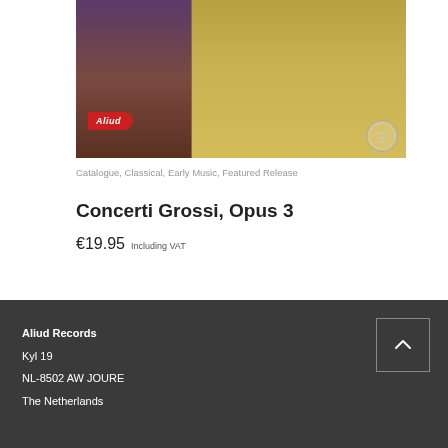[Figure (photo): Album cover for Concerti Grossi Opus 3 on Aliud Records label, showing a baroque-era portrait figure against a building background, with red Aliud label banner and SACD logo]
Catalogue, Classical, Early Music, Featured Release
Concerti Grossi, Opus 3
€19.95 Including VAT
Aliud Records
Kyl 19
NL-8502 AW JOURE
The Netherlands